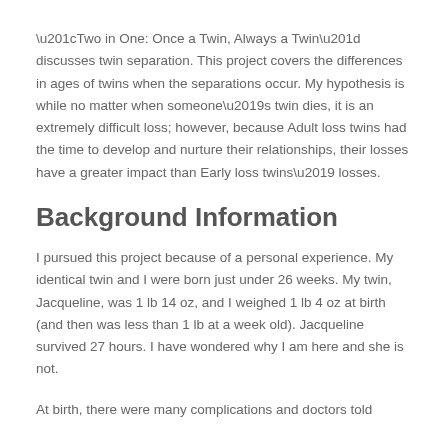“Two in One: Once a Twin, Always a Twin” discusses twin separation. This project covers the differences in ages of twins when the separations occur. My hypothesis is while no matter when someone’s twin dies, it is an extremely difficult loss; however, because Adult loss twins had the time to develop and nurture their relationships, their losses have a greater impact than Early loss twins’ losses.
Background Information
I pursued this project because of a personal experience. My identical twin and I were born just under 26 weeks. My twin, Jacqueline, was 1 lb 14 oz, and I weighed 1 lb 4 oz at birth (and then was less than 1 lb at a week old). Jacqueline survived 27 hours. I have wondered why I am here and she is not.
At birth, there were many complications and doctors told